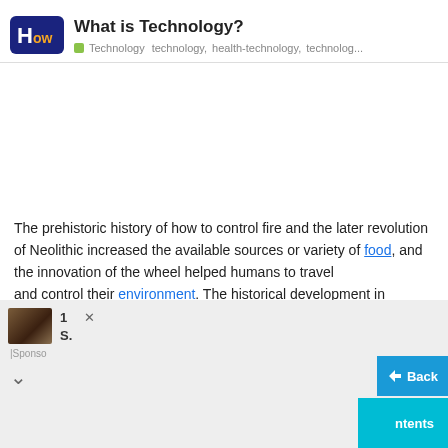What is Technology? — How — Technology, technology, health-technology, technolog...
The prehistoric history of how to control fire and the later revolution of Neolithic increased the available sources or variety of food, and the innovation of the wheel helped humans to travel and control their environment. The historical development in printing press, telephone, and the internet shows a great improvement in communication and allowed people to connect with each other on a global scale.
Technolo...